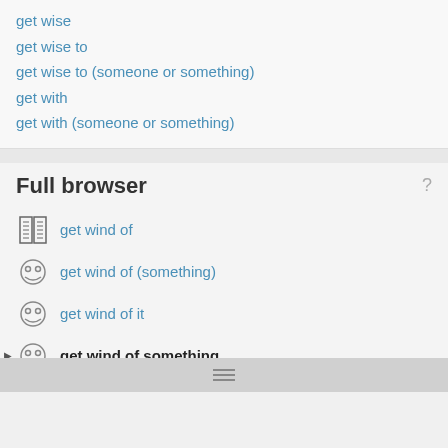get wise
get wise to
get wise to (someone or something)
get with
get with (someone or something)
Full browser
get wind of
get wind of (something)
get wind of it
get wind of something
get wind of something, to
get wings
get wires crossed
get wires crossed